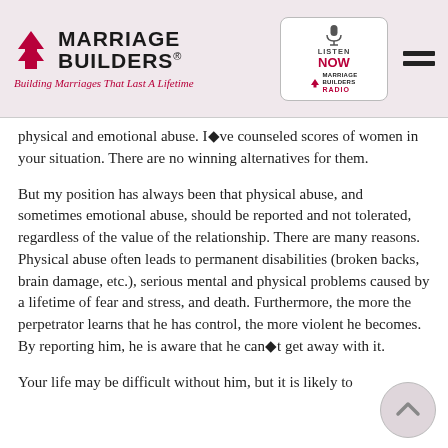Marriage Builders® – Building Marriages That Last A Lifetime
physical and emotional abuse. I◆ve counseled scores of women in your situation. There are no winning alternatives for them.
But my position has always been that physical abuse, and sometimes emotional abuse, should be reported and not tolerated, regardless of the value of the relationship. There are many reasons. Physical abuse often leads to permanent disabilities (broken backs, brain damage, etc.), serious mental and physical problems caused by a lifetime of fear and stress, and death. Furthermore, the more the perpetrator learns that he has control, the more violent he becomes. By reporting him, he is aware that he can◆t get away with it.
Your life may be difficult without him, but it is likely to